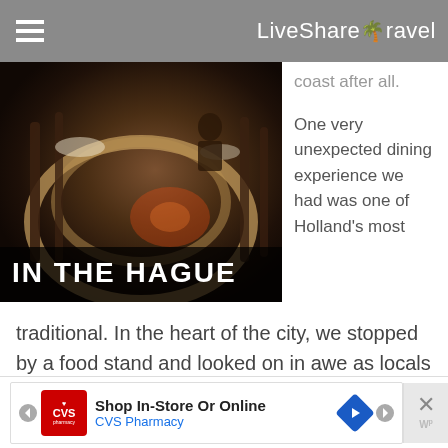LiveShareTravel
[Figure (photo): Interior of a restaurant with curved wooden railings and dim lighting, with text overlay reading IN THE HAGUE]
coast after all.
One very unexpected dining experience we had was one of Holland's most traditional. In the heart of the city, we stopped by a food stand and looked on in awe as locals picked up raw herring by the tail and whopped them whole into their mouths, with a pelican-like gulp.